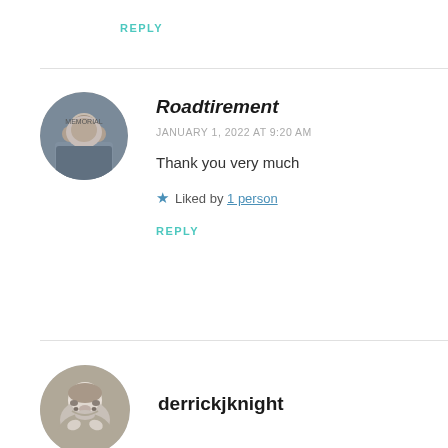REPLY
Roadtirement
JANUARY 1, 2022 AT 9:20 AM
Thank you very much
Liked by 1 person
REPLY
derrickjknight